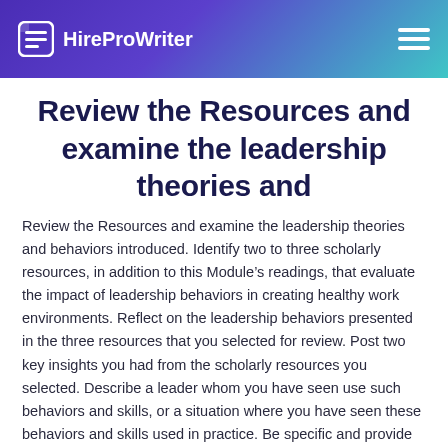HireProWriter
Review the Resources and examine the leadership theories and
Review the Resources and examine the leadership theories and behaviors introduced. Identify two to three scholarly resources, in addition to this Module’s readings, that evaluate the impact of leadership behaviors in creating healthy work environments. Reflect on the leadership behaviors presented in the three resources that you selected for review. Post two key insights you had from the scholarly resources you selected. Describe a leader whom you have seen use such behaviors and skills, or a situation where you have seen these behaviors and skills used in practice. Be specific and provide examples. Then, explain to what extent these skills were effective and how their practice impacted the workplace.